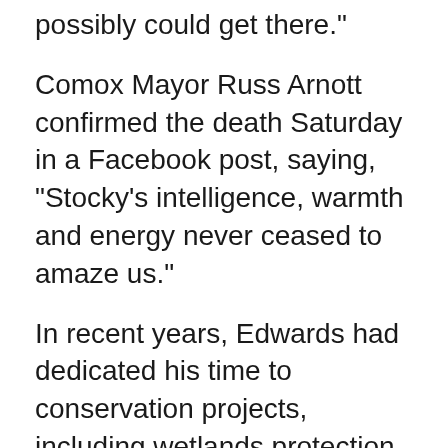possibly could get there."
Comox Mayor Russ Arnott confirmed the death Saturday in a Facebook post, saying, "Stocky's intelligence, warmth and energy never ceased to amaze us."
In recent years, Edwards had dedicated his time to conservation projects, including wetlands protection with Ducks Unlimited.
Mayor Bob Wells of Courtenay, B.C., said Edwards was "a heroic man of great character and conviction, and yet he was consistently humble, charming, and kind."
The mayor joined others in offering his condolences to the war veteran's wife, Toni, and their family.